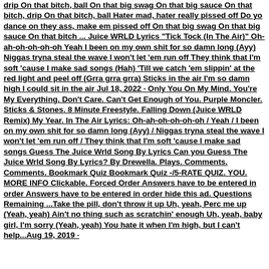drip On that bitch, ball On that big swag On that big sauce On that bitch, drip On that bitch, ball Hater mad, hater really pissed off Do yo dance on they ass, make em pissed off On that big swag On that big sauce On that bitch ... Juice WRLD Lyrics "Tick Tock (In The Air)" Oh-ah-oh-oh-oh-oh Yeah I been on my own shit for so damn long (Ayy) Niggas tryna steal the wave I won't let 'em run off They think that I'm soft 'cause I make sad songs (Hah) 'Till we catch 'em slippin' at the red light and peel off (Grra grra grra) Sticks in the air I'm so damn high I could sit in the air Jul 18, 2022 · Only You On My Mind. You're My Everything. Don't Care. Can't Get Enough of You. Purple Moncler. Sticks & Stones. 8 Minute Freestyle. Falling Down (Juice WRLD Remix) My Year. In The Air Lyrics: Oh-ah-oh-oh-oh-oh / Yeah / I been on my own shit for so damn long (Ayy) / Niggas tryna steal the wave I won't let 'em run off / They think that I'm soft 'cause I make sad songs Guess The Juice Wrld Song By Lyrics Can you Guess The Juice Wrld Song By Lyrics? By Drewella. Plays. Comments. Comments. Bookmark Quiz Bookmark Quiz -/5-RATE QUIZ. YOU. MORE INFO Clickable. Forced Order Answers have to be entered in order Answers have to be entered in order hide this ad. Questions Remaining ...Take the pill, don't throw it up Uh, yeah, Perc me up (Yeah, yeah) Ain't no thing such as scratchin' enough Uh, yeah, baby girl, I'm sorry (Yeah, yeah) You hate it when I'm high, but I can't help...Aug 19, 2019 ·